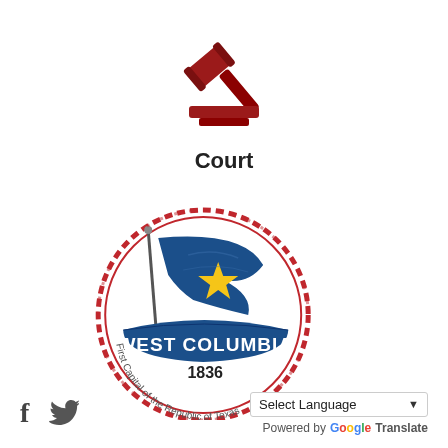[Figure (illustration): Red gavel/hammer icon above a sound block, representing a court or legal proceeding]
Court
[Figure (logo): West Columbia city seal/logo featuring a blue Texas flag with yellow star, a red circular stamp border, and a blue banner reading WEST COLUMBIA 1836 First Capital of the Republic of Texas]
[Figure (other): Social media icons: Facebook (f) and Twitter (bird) followed by a Select Language dropdown powered by Google Translate]